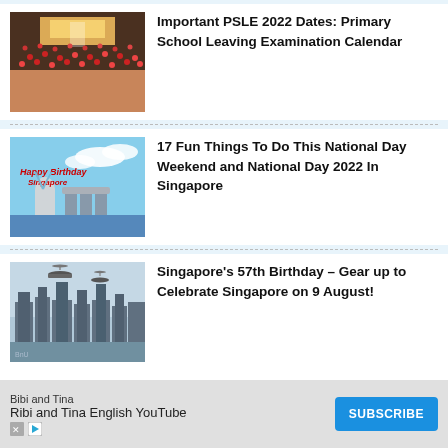[Figure (photo): Large crowd of students in an auditorium/hall viewed from above]
Important PSLE 2022 Dates: Primary School Leaving Examination Calendar
[Figure (photo): Happy Birthday Singapore image with Merlion and Marina Bay Sands in background]
17 Fun Things To Do This National Day Weekend and National Day 2022 In Singapore
[Figure (photo): Singapore city skyline with aircraft flying overhead]
Singapore's 57th Birthday – Gear up to Celebrate Singapore on 9 August!
Be Our Fan
Bibi and Tina
Ribi and Tina English YouTube
SUBSCRIBE